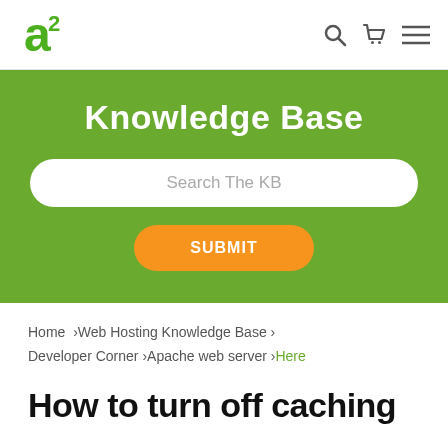a2 logo, search icon, cart icon, menu icon
Knowledge Base
Search The KB
SUBMIT
Home  >Web Hosting Knowledge Base  >  Developer Corner  >Apache web server  >Here
How to turn off caching